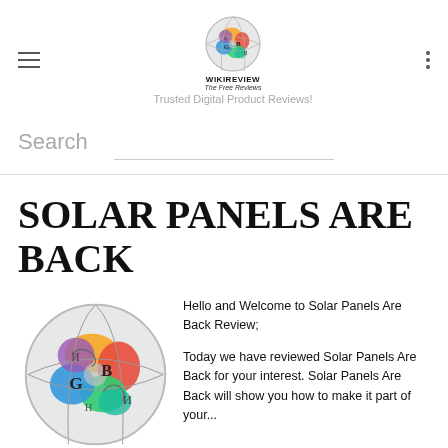WIKIREVIEW The Free Reviews — Trusted Digital Product Reviews!
Search
SOLAR PANELS ARE BACK
[Figure (logo): Colorful puzzle-globe logo similar to Wikipedia globe]
Hello and Welcome to Solar Panels Are Back Review;

Today we have reviewed Solar Panels Are Back for your interest. Solar Panels Are Back will show you how to make it part of your...